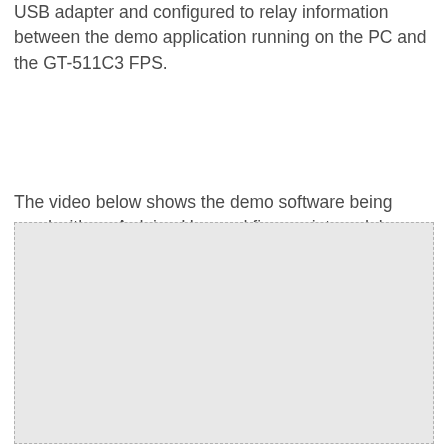USB adapter and configured to relay information between the demo application running on the PC and the GT-511C3 FPS.
The video below shows the demo software being used with an Arduino Uno and fingerprint module.
[Figure (other): Video placeholder — a light gray rectangle with a dashed border representing an embedded video player area.]